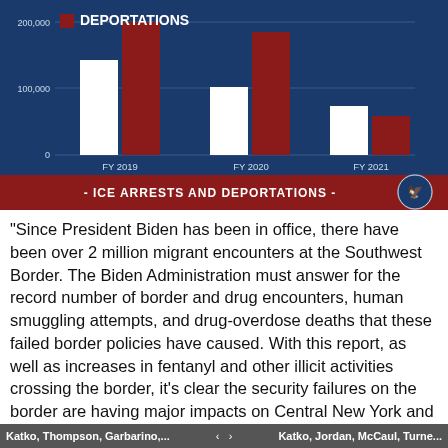[Figure (grouped-bar-chart): DEPORTATIONS / ICE ARRESTS AND DEPORTATIONS]
“Since President Biden has been in office, there have been over 2 million migrant encounters at the Southwest Border. The Biden Administration must answer for the record number of border and drug encounters, human smuggling attempts, and drug-overdose deaths that these failed border policies have caused. With this report, as well as increases in fentanyl and other illicit activities crossing the border, it’s clear the security failures on the border are having major impacts on Central New York and communities across the United States. There is no doubt that every community is now a border community thanks to this
Katko, Thompson, Garbarino,... ‹ › Katko, Jordan, McCaul, Turne...